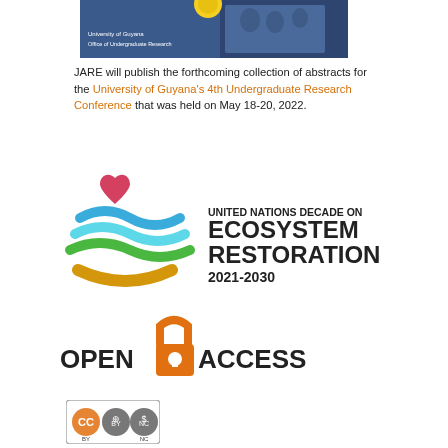[Figure (photo): University of Guyana Office of Undergraduate Research banner image with students and a globe graphic in blue tones]
JARE will publish the forthcoming collection of abstracts for the University of Guyana's 4th Undergraduate Research Conference that was held on May 18-20, 2022.
[Figure (logo): United Nations Decade on Ecosystem Restoration 2021-2030 logo with colorful wave and heart design]
[Figure (logo): Open Access logo with orange open padlock symbol and bold text OPEN ACCESS]
[Figure (logo): Creative Commons BY-NC license badge]